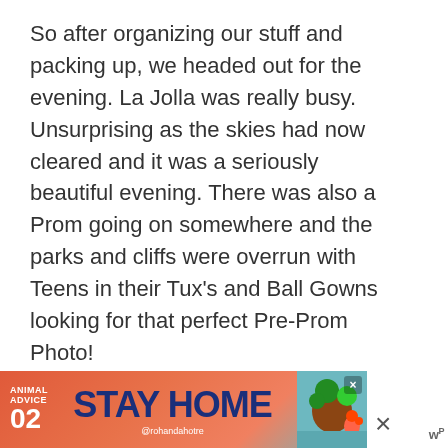So after organizing our stuff and packing up, we headed out for the evening. La Jolla was really busy. Unsurprising as the skies had now cleared and it was a seriously beautiful evening. There was also a Prom going on somewhere and the parks and cliffs were overrun with Teens in their Tux's and Ball Gowns looking for that perfect Pre-Prom Photo!
[Figure (infographic): A like/heart button (teal circle with white heart icon), a count of 1, and a share button (teal circle with share icon) on the right side of the page]
[Figure (infographic): Advertisement banner for 'Animal Advice 02 - STAY HOME' by @rohandahotre with colorful illustration, close buttons and WordPress logo]